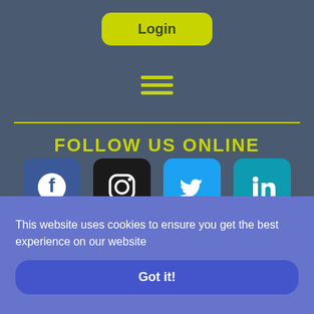Login
[Figure (infographic): Hamburger menu icon with three horizontal yellow lines]
FOLLOW US ONLINE
[Figure (infographic): Row of four social media icons: Facebook (blue), Instagram (black), Twitter (blue), LinkedIn (teal)]
SIGN UP TO OUR NEWSLETTER
This website uses cookies to ensure you get the best experience on our website
Got it!